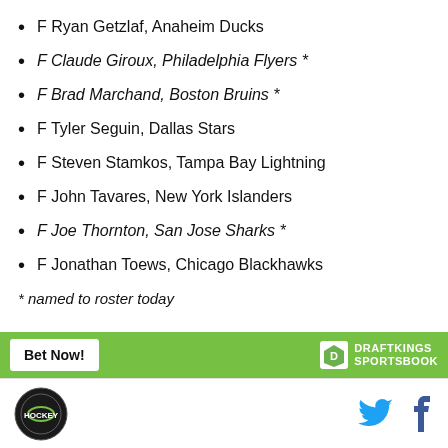F Ryan Getzlaf, Anaheim Ducks
F Claude Giroux, Philadelphia Flyers *
F Brad Marchand, Boston Bruins *
F Tyler Seguin, Dallas Stars
F Steven Stamkos, Tampa Bay Lightning
F John Tavares, New York Islanders
F Joe Thornton, San Jose Sharks *
F Jonathan Toews, Chicago Blackhawks
* named to roster today
[Figure (logo): DraftKings Sportsbook banner with Bet Now button]
[Figure (logo): Site logo circle and social media icons (Twitter, Facebook)]